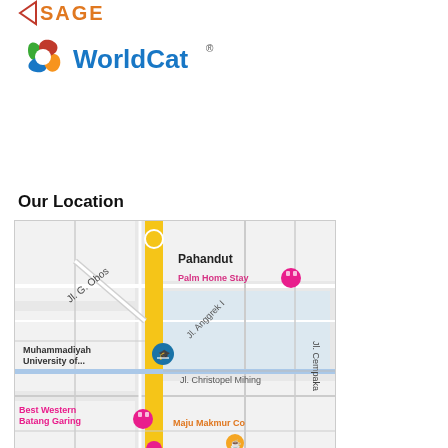[Figure (logo): SAGE publisher logo (partial, top crop)]
[Figure (logo): WorldCat logo with colorful spiral icon and text 'WorldCat']
Our Location
[Figure (map): Google Maps view showing Pahandut area with Palm Home Stay, Muhammadiyah University, Best Western Batang Garing, Maju Makmur Co, and other landmarks. Jl. G. Obos main road visible.]